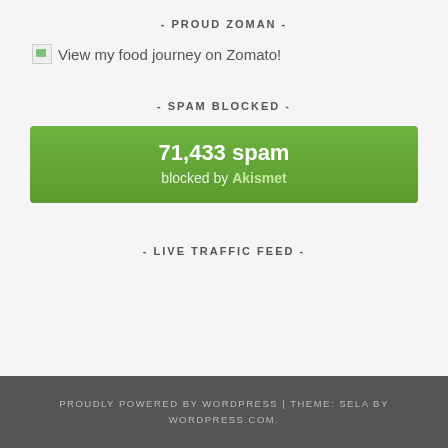- PROUD ZOMAN -
[Figure (other): Broken image icon followed by text: View my food journey on Zomato!]
- SPAM BLOCKED -
[Figure (infographic): Green Akismet spam counter widget showing 71,433 spam blocked by Akismet]
- LIVE TRAFFIC FEED -
PROUDLY POWERED BY WORDPRESS | THEME: SELA BY WORDPRESS.COM.